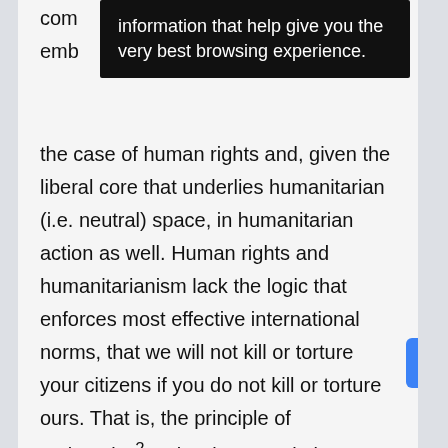[Figure (screenshot): A black tooltip/popup overlay showing the text: 'information that help give you the very best browsing experience.']
the case of human rights and, given the liberal core that underlies humanitarian (i.e. neutral) space, in humanitarian action as well. Human rights and humanitarianism lack the logic that enforces most effective international norms, that we will not kill or torture your citizens if you do not kill or torture ours. That is, the principle of reciprocity.² A classic example is prisoner protection. If you torture enemy combatants you have captured, your enemy will do the same to your POWs. The same